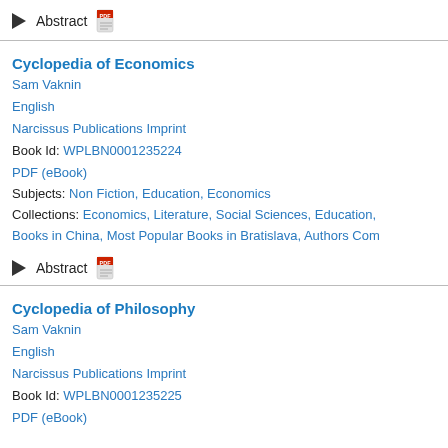▶ Abstract [PDF icon]
Cyclopedia of Economics
Sam Vaknin
English
Narcissus Publications Imprint
Book Id: WPLBN0001235224
PDF (eBook)
Subjects: Non Fiction, Education, Economics
Collections: Economics, Literature, Social Sciences, Education, Books in China, Most Popular Books in Bratislava, Authors Com
▶ Abstract [PDF icon]
Cyclopedia of Philosophy
Sam Vaknin
English
Narcissus Publications Imprint
Book Id: WPLBN0001235225
PDF (eBook)